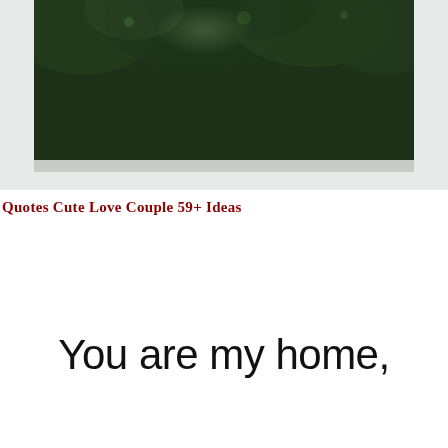[Figure (photo): Dark green foliage/trees photograph, cropped at top of frame, with a light grey/white border at the bottom edge of the image]
Quotes Cute Love Couple 59+ Ideas
You are my home,